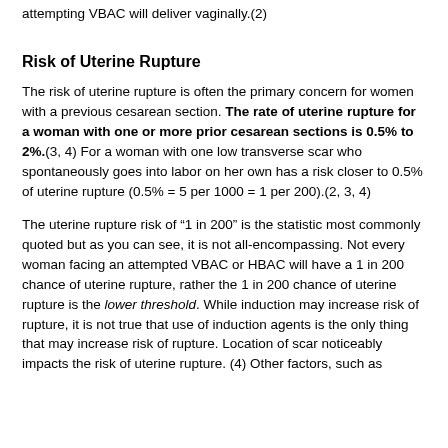attempting VBAC will deliver vaginally.(2)
Risk of Uterine Rupture
The risk of uterine rupture is often the primary concern for women with a previous cesarean section. The rate of uterine rupture for a woman with one or more prior cesarean sections is 0.5% to 2%.(3, 4) For a woman with one low transverse scar who spontaneously goes into labor on her own has a risk closer to 0.5% of uterine rupture (0.5% = 5 per 1000 = 1 per 200).(2, 3, 4)
The uterine rupture risk of “1 in 200” is the statistic most commonly quoted but as you can see, it is not all-encompassing. Not every woman facing an attempted VBAC or HBAC will have a 1 in 200 chance of uterine rupture, rather the 1 in 200 chance of uterine rupture is the lower threshold. While induction may increase risk of rupture, it is not true that use of induction agents is the only thing that may increase risk of rupture. Location of scar noticeably impacts the risk of uterine rupture. (4) Other factors, such as